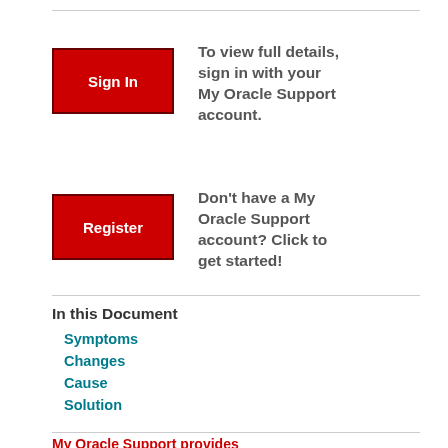[Figure (other): Red Sign In button]
To view full details, sign in with your My Oracle Support account.
[Figure (other): Red Register button]
Don't have a My Oracle Support account? Click to get started!
In this Document
Symptoms
Changes
Cause
Solution
My Oracle Support provides customers with access to over a